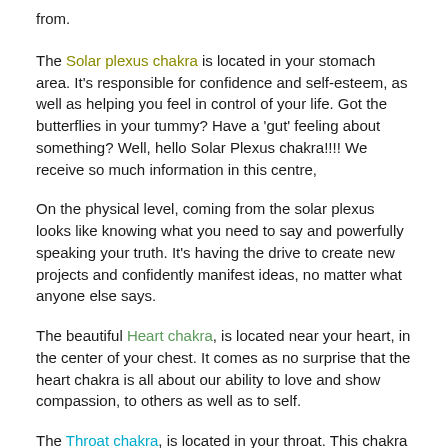from.
The Solar plexus chakra is located in your stomach area. It's responsible for confidence and self-esteem, as well as helping you feel in control of your life. Got the butterflies in your tummy?  Have a 'gut' feeling about something? Well, hello Solar Plexus chakra!!!!  We receive so much information in this centre,
On the physical level, coming from the solar plexus looks like knowing what you need to say and powerfully speaking your truth. It's having the drive to create new projects and confidently manifest ideas, no matter what anyone else says.
The beautiful Heart chakra,  is located near your heart, in the center of your chest. It comes as no surprise that the heart chakra is all about our ability to love and show compassion, to others as well as to self.
The Throat chakra,  is located in your throat. This chakra has to do with our ability to communicate verbally. Connecting to